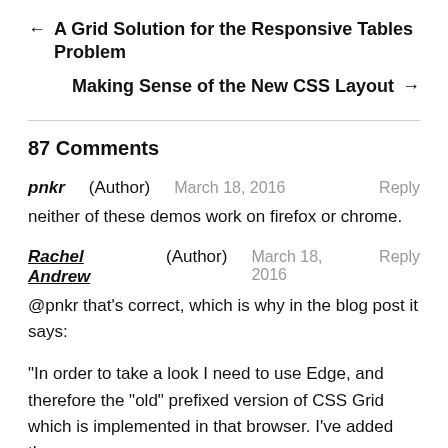← A Grid Solution for the Responsive Tables Problem
Making Sense of the New CSS Layout →
87 Comments
pnkr (Author)   March 18, 2016   Reply
neither of these demos work on firefox or chrome.
Rachel Andrew (Author)   March 18, 2016   Reply
@pnkr that's correct, which is why in the blog post it says:
“In order to take a look I need to use Edge, and therefore the “old” prefixed version of CSS Grid which is implemented in that browser. I’ve added the new